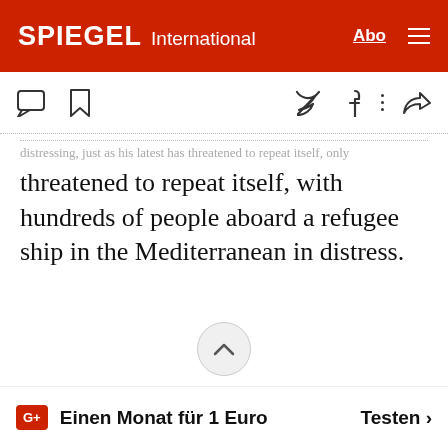SPIEGEL International
...threatened to repeat itself, with hundreds of people aboard a refugee ship in the Mediterranean in distress.
Einen Monat für 1 Euro   Testen >